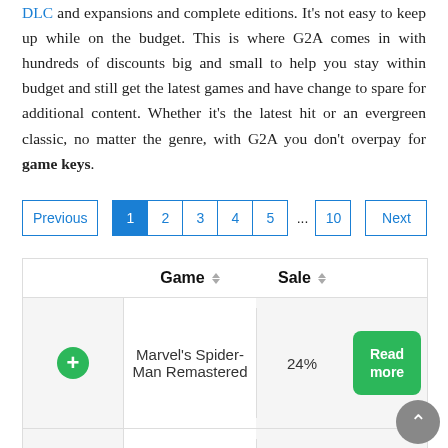DLC and expansions and complete editions. It's not easy to keep up while on the budget. This is where G2A comes in with hundreds of discounts big and small to help you stay within budget and still get the latest games and have change to spare for additional content. Whether it's the latest hit or an evergreen classic, no matter the genre, with G2A you don't overpay for game keys.
Pagination: Previous | 1 | 2 | 3 | 4 | 5 | ... | 10 | Next
|  | Game | Sale |  |
| --- | --- | --- | --- |
| + | Marvel's Spider-Man Remastered | 24% | Read more |
| + | F1 Manager | 17% | Read |